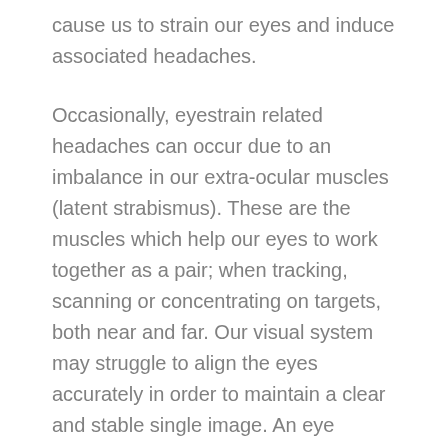cause us to strain our eyes and induce associated headaches.
Occasionally, eyestrain related headaches can occur due to an imbalance in our extra-ocular muscles (latent strabismus). These are the muscles which help our eyes to work together as a pair; when tracking, scanning or concentrating on targets, both near and far. Our visual system may struggle to align the eyes accurately in order to maintain a clear and stable single image. An eye muscle weakness which is difficult to control naturally may give symptoms of shadowed or even double vision.
Luckily, these conditions are easily